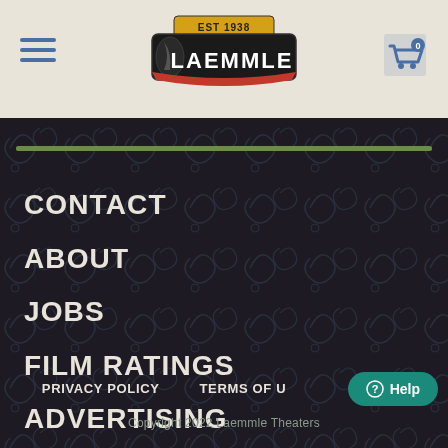Laemmle Theaters - EST 1938
CONTACT
ABOUT
JOBS
FILM RATINGS
ADVERTISING
PRIVACY POLICY   TERMS OF U   Help   Copyright 2022 Laemmle Theaters